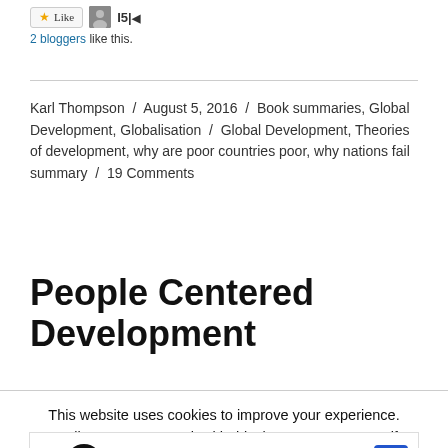[Figure (screenshot): Like button with star icon, user avatar thumbnail, and cursor/arrow icon]
2 bloggers like this.
Karl Thompson / August 5, 2016 / Book summaries, Global Development, Globalisation / Global Development, Theories of development, why are poor countries poor, why nations fail summary / 19 Comments
People Centered Development
This website uses cookies to improve your experience. We'll assume you're ok with this, but you can opt-out if
[Figure (screenshot): Advertisement banner: Visit Premium Outlets® Leesburg Premium Outlets with logo and arrow icon]